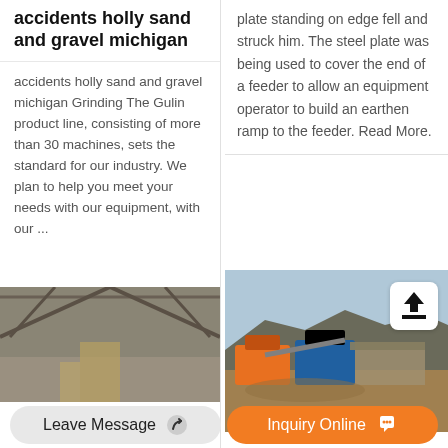accidents holly sand and gravel michigan
accidents holly sand and gravel michigan Grinding The Gulin product line, consisting of more than 30 machines, sets the standard for our industry. We plan to help you meet your needs with our equipment, with our ...
[Figure (photo): Interior of an industrial building or workshop with steel roof trusses]
plate standing on edge fell and struck him. The steel plate was being used to cover the end of a feeder to allow an equipment operator to build an earthen ramp to the feeder. Read More.
[Figure (photo): Outdoor industrial site with orange and blue machinery, possibly a sand and gravel processing plant, with rocky terrain in the background]